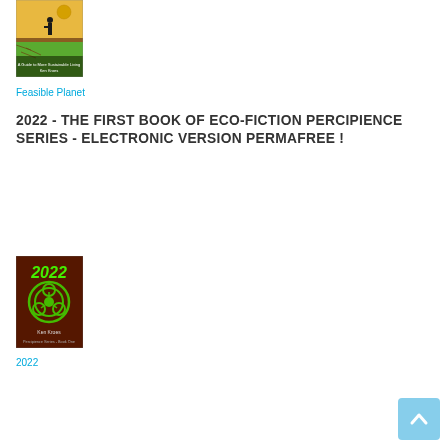[Figure (photo): Book cover for 'Feasible Planet' by Ken Kroes showing a figure on cracked earth with green grass and a coin/sun, with text 'A Guide to More Sustainable Living']
Feasible Planet
2022 - THE FIRST BOOK OF ECO-FICTION PERCIPIENCE SERIES - ELECTRONIC VERSION PERMAFREE !
[Figure (photo): Book cover for '2022' by Ken Kroes - Percipience Series Book One, showing a biohazard symbol in green on a dark red/brown background with '2022' text in green]
2022